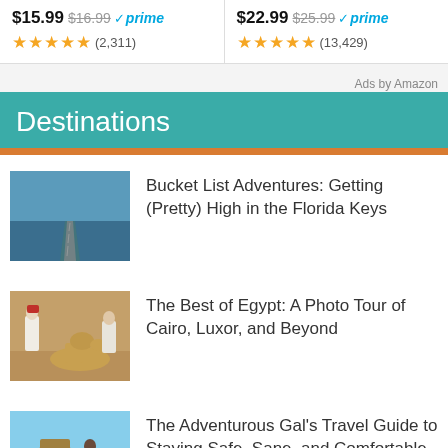$15.99 $16.99 ✓prime ★★★★★ (2,311)
$22.99 $25.99 ✓prime ★★★★★ (13,429)
Ads by Amazon
Destinations
[Figure (photo): Aerial view of a long road over water in the Florida Keys]
Bucket List Adventures: Getting (Pretty) High in the Florida Keys
[Figure (photo): People with camel in Egyptian desert]
The Best of Egypt: A Photo Tour of Cairo, Luxor, and Beyond
[Figure (photo): Person standing near the Sphinx in Egypt]
The Adventurous Gal's Travel Guide to Staying Safe, Sane, and Comfortable in Egypt